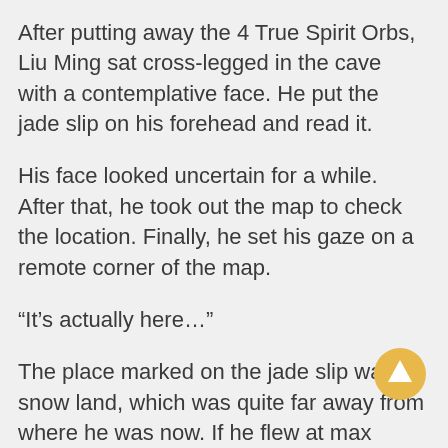After putting away the 4 True Spirit Orbs, Liu Ming sat cross-legged in the cave with a contemplative face. He put the jade slip on his forehead and read it.
His face looked uncertain for a while. After that, he took out the map to check the location. Finally, he set his gaze on a remote corner of the map.
“It’s actually here…”
The place marked on the jade slip was a snow land, which was quite far away from where he was now. If he flew at max speed, it might take him more than 10 days to arrive.
Although the distance was not a problem, according to Lan Si, there were many powerhouses of the